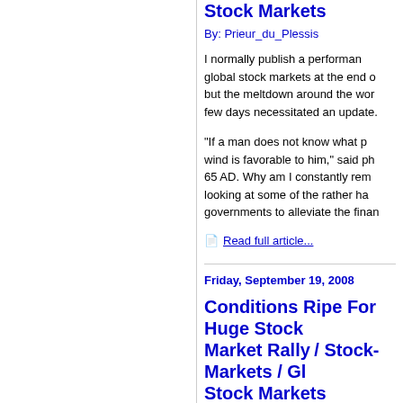Stock Markets
By: Prieur_du_Plessis
I normally publish a performance of global stock markets at the end of but the meltdown around the world few days necessitated an update.
“If a man does not know what port wind is favorable to him,” said ph 65 AD. Why am I constantly rem looking at some of the rather ha governments to alleviate the finan
Read full article...
Friday, September 19, 2008
Conditions Ripe For Huge Stock Market Rally / Stock-Markets / Gl Stock Markets